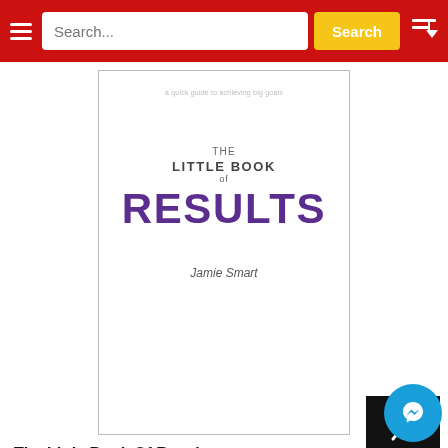Search... Search
[Figure (photo): Book cover of 'The Little Book of Results' by Jamie Smart — white cover with purple large text RESULTS]
The Little Book Of Results
Jamie Smart
120.000đ
[Figure (photo): Book cover for Anhua Gao book — red cover with author name in golden letters]